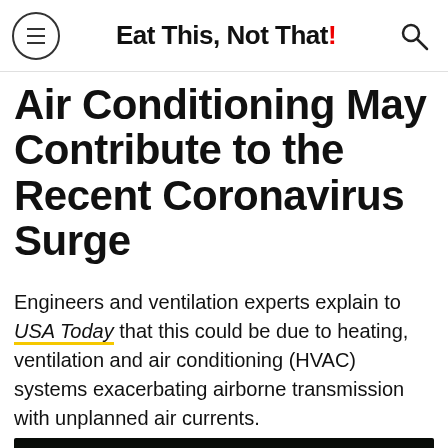Eat This, Not That!
Air Conditioning May Contribute to the Recent Coronavirus Surge
Engineers and ventilation experts explain to USA Today that this could be due to heating, ventilation and air conditioning (HVAC) systems exacerbating airborne transmission with unplanned air currents.
[Figure (screenshot): Video thumbnail with dark background showing glowing green coronavirus particle illustration set against a nighttime street scene. Text overlay reads 'Debunking Top 10 Coronavirus Myths' with a play button in the center.]